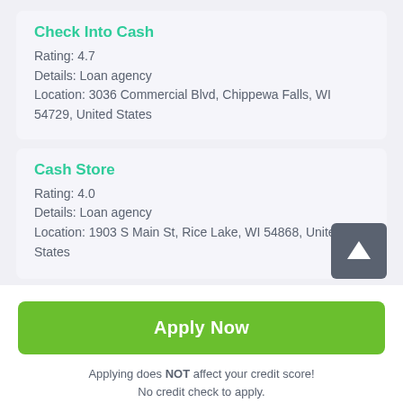Check Into Cash
Rating: 4.7
Details: Loan agency
Location: 3036 Commercial Blvd, Chippewa Falls, WI 54729, United States
Cash Store
Rating: 4.0
Details: Loan agency
Location: 1903 S Main St, Rice Lake, WI 54868, United States
Apply Now
Applying does NOT affect your credit score! No credit check to apply.